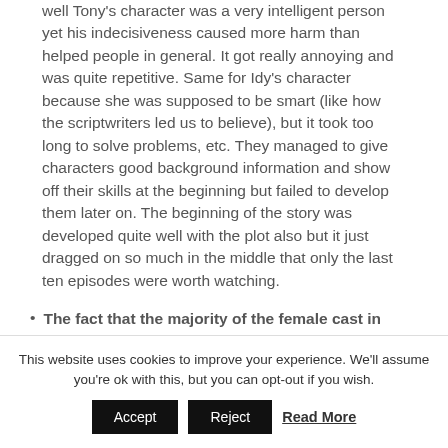well Tony's character was a very intelligent person yet his indecisiveness caused more harm than helped people in general. It got really annoying and was quite repetitive. Same for Idy's character because she was supposed to be smart (like how the scriptwriters led us to believe), but it took too long to solve problems, etc. They managed to give characters good background information and show off their skills at the beginning but failed to develop them later on. The beginning of the story was developed quite well with the plot also but it just dragged on so much in the middle that only the last ten episodes were worth watching.
The fact that the majority of the female cast in
This website uses cookies to improve your experience. We'll assume you're ok with this, but you can opt-out if you wish.